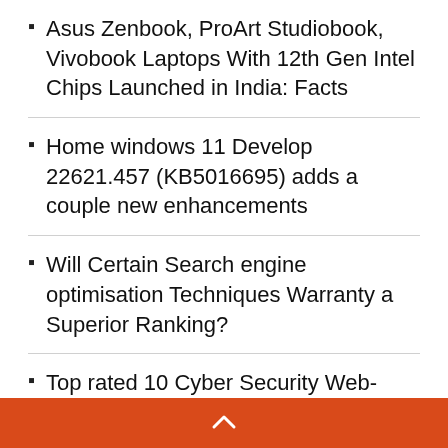Asus Zenbook, ProArt Studiobook, Vivobook Laptops With 12th Gen Intel Chips Launched in India: Facts
Home windows 11 Develop 22621.457 (KB5016695) adds a couple new enhancements
Will Certain Search engine optimisation Techniques Warranty a Superior Ranking?
Top rated 10 Cyber Security Web-sites 2022
Realme Pad X Assessment: A sweet binge…